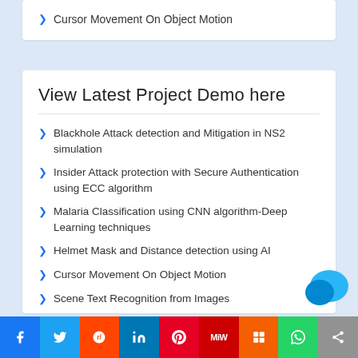Cursor Movement On Object Motion
View Latest Project Demo here
Blackhole Attack detection and Mitigation in NS2 simulation
Insider Attack protection with Secure Authentication using ECC algorithm
Malaria Classification using CNN algorithm-Deep Learning techniques
Helmet Mask and Distance detection using AI
Cursor Movement On Object Motion
Scene Text Recognition from Images
Bird Species Detection using Deep Learning Algorithms